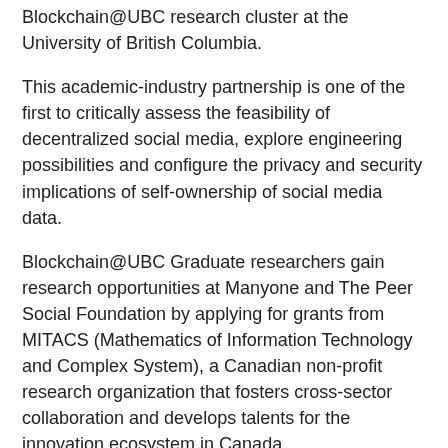Blockchain@UBC research cluster at the University of British Columbia.
This academic-industry partnership is one of the first to critically assess the feasibility of decentralized social media, explore engineering possibilities and configure the privacy and security implications of self-ownership of social media data.
Blockchain@UBC Graduate researchers gain research opportunities at Manyone and The Peer Social Foundation by applying for grants from MITACS (Mathematics of Information Technology and Complex System), a Canadian non-profit research organization that fosters cross-sector collaboration and develops talents for the innovation ecosystem in Canada.
In the next year, UBC researchers will identify technical requirements for decentralized identities, design new system architecture, and explore the value and business models for blockchain-based identity management.